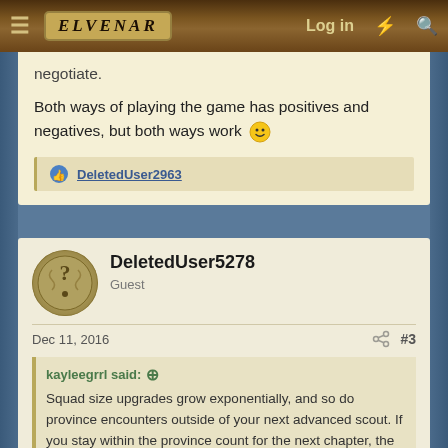Elvenar — Log in
negotiate.
Both ways of playing the game has positives and negatives, but both ways work 🙂
DeletedUser2963
DeletedUser5278
Guest
Dec 11, 2016
#3
kayleegrrl said:
Squad size upgrades grow exponentially, and so do province encounters outside of your next advanced scout. If you stay within the province count for the next chapter, the scout will reduce the squads faced in provinces, making battles winnable. If you continue to scout outside your advanced scout technology, you will only be able to negotiate.